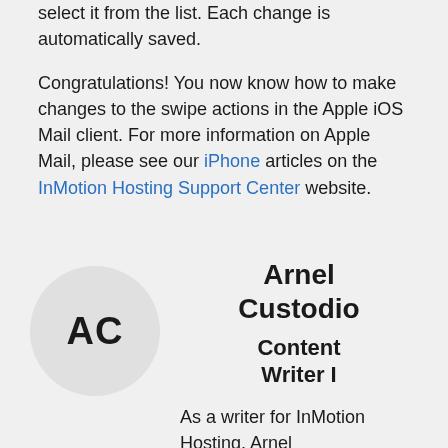select it from the list. Each change is automatically saved.
Congratulations! You now know how to make changes to the swipe actions in the Apple iOS Mail client. For more information on Apple Mail, please see our iPhone articles on the InMotion Hosting Support Center website.
[Figure (illustration): Author avatar circle with initials AC]
Arnel Custodio
Content Writer I
As a writer for InMotion Hosting, Arnel